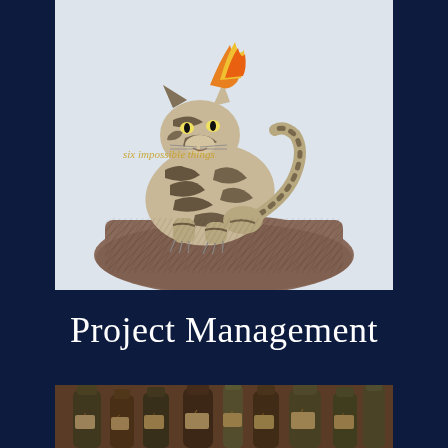[Figure (photo): Vintage illustration of a wildcat or tiger-cat perched on a rock, with striped fur and claws, in an antique natural history engraving style. Faint italic text overlay reads 'six impossible things'.]
Project Management
[Figure (photo): Photograph of a collection of old dark glass bottles with paper tags tied around their necks, arranged closely together in a dusty, apothecary-style setting. Warm brown tones.]